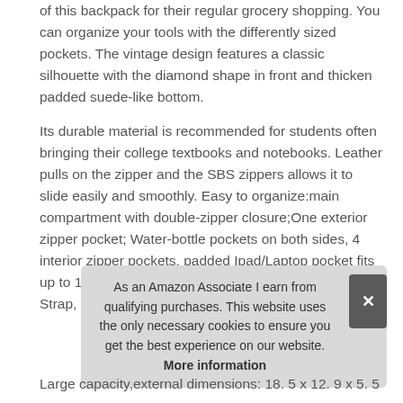of this backpack for their regular grocery shopping. You can organize your tools with the differently sized pockets. The vintage design features a classic silhouette with the diamond shape in front and thicken padded suede-like bottom.
Its durable material is recommended for students often bringing their college textbooks and notebooks. Leather pulls on the zipper and the SBS zippers allows it to slide easily and smoothly. Easy to organize:main compartment with double-zipper closure;One exterior zipper pocket; Water-bottle pockets on both sides, 4 interior zipper pockets, padded Ipad/Laptop pocket fits up to 15inch laptop, adjustable padded Reinforced Strap, leather zipper puller, anti-theft back pocket.
As an Amazon Associate I earn from qualifying purchases. This website uses the only necessary cookies to ensure you get the best experience on our website. More information
Large capacity,external dimensions: 18. 5 x 12. 9 x 5. 5